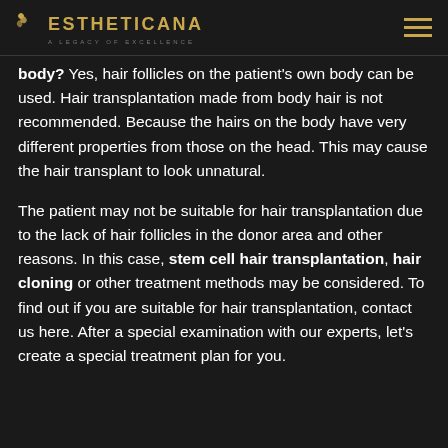ESTHETICANA — A LEGACY OF EXCELLENCE
body? Yes, hair follicles on the patient's own body can be used. Hair transplantation made from body hair is not recommended. Because the hairs on the body have very different properties from those on the head. This may cause the hair transplant to look unnatural.
The patient may not be suitable for hair transplantation due to the lack of hair follicles in the donor area and other reasons. In this case, stem cell hair transplantation, hair cloning or other treatment methods may be considered. To find out if you are suitable for hair transplantation, contact us here. After a special examination with our experts, let's create a special treatment plan for you.